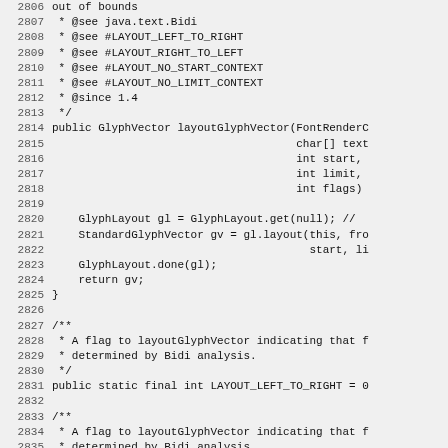Source code listing showing Java Font class methods layoutGlyphVector and related Javadoc comments, lines 2806-2836